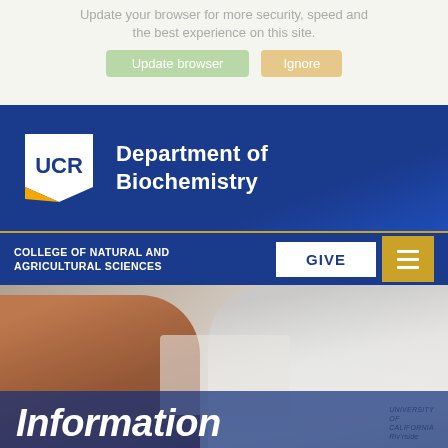Update your browser for more security, speed and the best experience on this site.
[Figure (screenshot): Two buttons: 'Update browser' (green) and 'Ignore' (tan/yellow)]
[Figure (logo): UCR logo — white pentagon shape with 'UCR' text and gold accent — beside 'Department of Biochemistry' text on dark blue background]
Department of Biochemistry
COLLEGE OF NATURAL AND AGRICULTURAL SCIENCES
GIVE
[Figure (photo): Two lab researchers in white coats working together in a laboratory setting. One has red hair in a ponytail. The other is a young man wearing glasses. University of California text visible on his coat.]
Information for Current